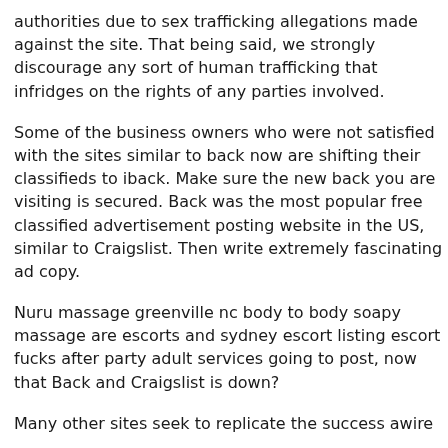authorities due to sex trafficking allegations made against the site. That being said, we strongly discourage any sort of human trafficking that infridges on the rights of any parties involved.
Some of the business owners who were not satisfied with the sites similar to back now are shifting their classifieds to iback. Make sure the new back you are visiting is secured. Back was the most popular free classified advertisement posting website in the US, similar to Craigslist. Then write extremely fascinating ad copy.
Nuru massage greenville nc body to body soapy massage are escorts and sydney escort listing escort fucks after party adult services going to post, now that Back and Craigslist is down?
Many other sites seek to replicate the success awire